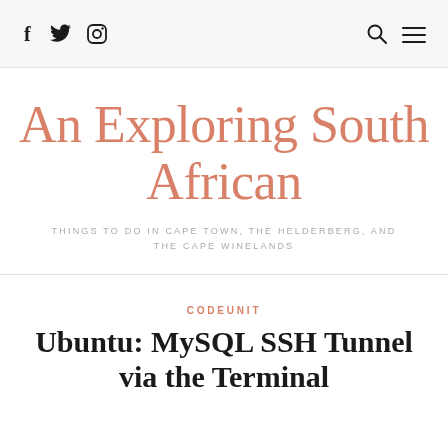f  Twitter  Instagram  Search  Menu
An Exploring South African
THINGS TO DO IN CAPE TOWN, THE HELDERBERG, AND THE CAPE WINELANDS
CODEUNIT
Ubuntu: MySQL SSH Tunnel via the Terminal